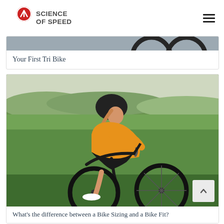SCIENCE OF SPEED
[Figure (photo): Partial view of a tri bike wheel against a grey background — bottom strip of a card]
Your First Tri Bike
[Figure (photo): Woman cyclist wearing orange jersey and black helmet riding a road bike on a grass field with hills in the background]
What's the difference between a Bike Sizing and a Bike Fit?